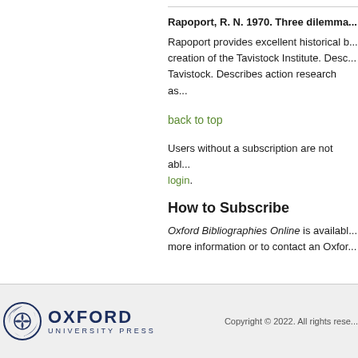Rapoport, R. N. 1970. Three dilemma...
Rapoport provides excellent historical b... creation of the Tavistock Institute. Desc... Tavistock. Describes action research as...
back to top
Users without a subscription are not abl... login.
How to Subscribe
Oxford Bibliographies Online is availabl... more information or to contact an Oxfor...
Oxford University Press — Copyright © 2022. All rights rese...